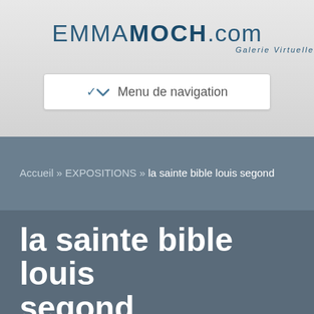[Figure (logo): EMMAMOCH.com Galerie Virtuelle logo with navigation menu button]
Accueil » EXPOSITIONS » la sainte bible louis segond
la sainte bible louis segond
LA SAINTE BIBLE LOUIS SEGOND. Download La Sainte Bible - Louis Segond for PC - free download